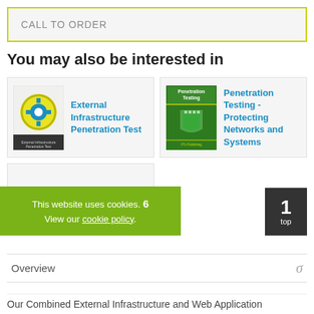CALL TO ORDER
You may also be interested in
[Figure (illustration): Book cover: External Infrastructure Penetration Test - gear icon on yellow/white background with dark bottom strip]
External Infrastructure Penetration Test
[Figure (photo): Book cover: Penetration Testing - green shield/castle graphic]
Penetration Testing - Protecting Networks and Systems
Web Application Penetration Test
This website uses cookies. View our cookie policy.
1 top
Overview
Our Combined External Infrastructure and Web Application